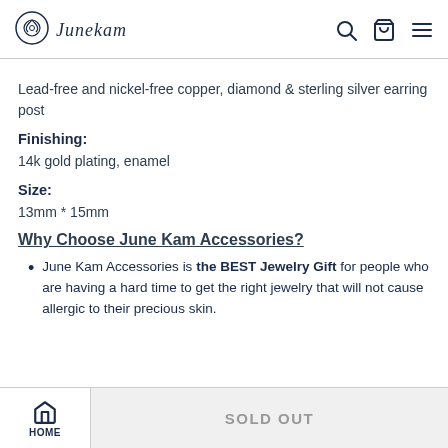June Kam logo and navigation
Lead-free and nickel-free copper, diamond & sterling silver earring post
Finishing:
14k gold plating, enamel
Size:
13mm * 15mm
Why Choose June Kam Accessories?
June Kam Accessories is the BEST Jewelry Gift for people who are having a hard time to get the right jewelry that will not cause allergic to their precious skin.
HOME | SOLD OUT